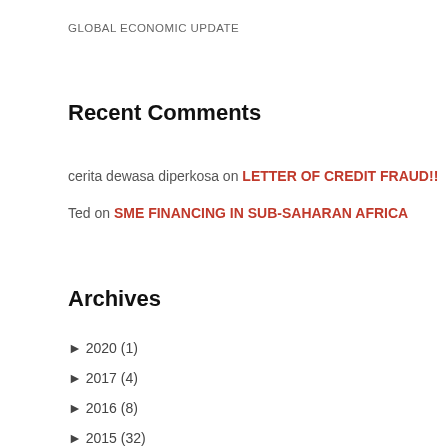GLOBAL ECONOMIC UPDATE
Recent Comments
cerita dewasa diperkosa on LETTER OF CREDIT FRAUD!!
Ted on SME FINANCING IN SUB-SAHARAN AFRICA
Archives
► 2020 (1)
► 2017 (4)
► 2016 (8)
► 2015 (32)